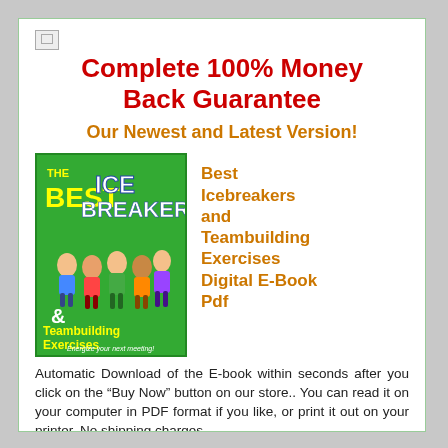[Figure (logo): Small broken image icon in top-left corner]
Complete 100% Money Back Guarantee
Our Newest and Latest Version!
[Figure (illustration): Book cover: 'The Best Ice Breakers & Teambuilding Exercises - Energize your next meeting!' by Cassandre D. Suerte. Green background with cartoon characters.]
Best Icebreakers and Teambuilding Exercises Digital E-Book Pdf
Automatic Download of the E-book within seconds after you click on the “Buy Now” button on our store.. You can read it on your computer in PDF format if you like, or print it out on your printer. No shipping charges.
More information